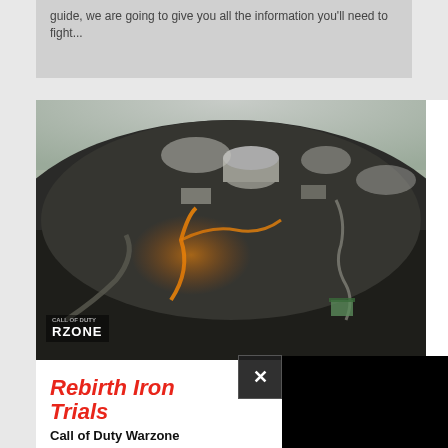guide, we are going to give you all the information you'll need to fight...
[Figure (screenshot): Aerial view of Rebirth Island game map from Call of Duty Warzone, showing a dark rocky terrain with winding paths and lava-like glowing outlines. A CALL OF DUTY WARZONE logo is visible in the bottom-left corner. A black overlay panel with a close (X) button overlaps the right portion.]
Rebirth Iron Trials
Call of Duty Warzone
The Rebirth Iron Trials is once a... Warzone, and you are no doubt wondering how it is going...